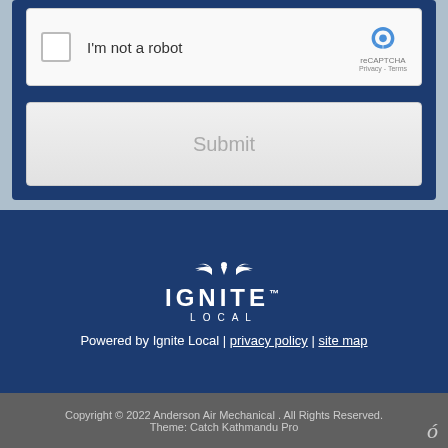[Figure (screenshot): reCAPTCHA widget showing 'I'm not a robot' checkbox with reCAPTCHA logo, Privacy and Terms links]
[Figure (screenshot): Submit button in light gray styling]
[Figure (logo): Ignite Local logo with wings icon above text IGNITE LOCAL]
Powered by Ignite Local | privacy policy | site map
Copyright © 2022 Anderson Air Mechanical . All Rights Reserved.
Theme: Catch Kathmandu Pro